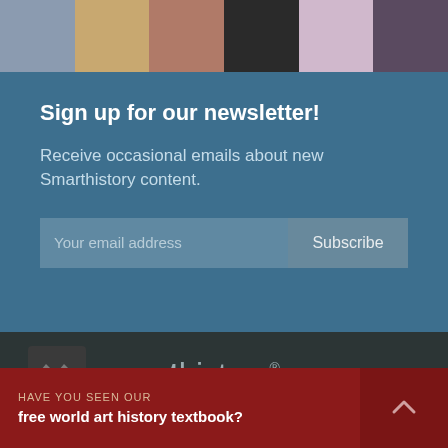[Figure (photo): Horizontal strip of six art history thumbnail images at the top of the page]
Sign up for our newsletter!
Receive occasional emails about new Smarthistory content.
[Figure (screenshot): Email subscription form with input field labeled 'Your email address' and a Subscribe button]
[Figure (logo): Smarthistory logo with quotation mark icon and text 'smarthistory®' on dark background]
HAVE YOU SEEN OUR
free world art history textbook?